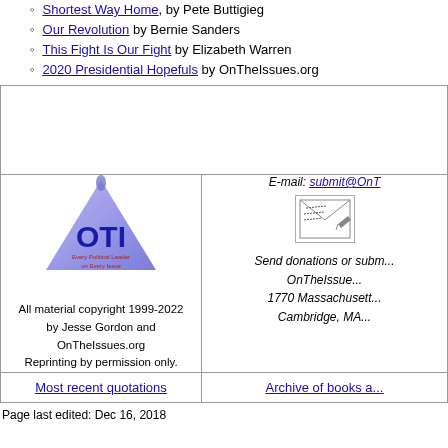Shortest Way Home, by Pete Buttigieg
Our Revolution by Bernie Sanders
This Fight Is Our Fight by Elizabeth Warren
2020 Presidential Hopefuls by OnTheIssues.org
| [advertisement area] |  |
| OTI logo / All material copyright 1999-2022 by Jesse Gordon and OnTheIssues.org Reprinting by permission only. | E-mail: submit@OnT... Send donations or subm... OnTheIssue... 1770 Massachusett... Cambridge, MA... |
| Most recent quotations | Archive of books a... |
Page last edited: Dec 16, 2018